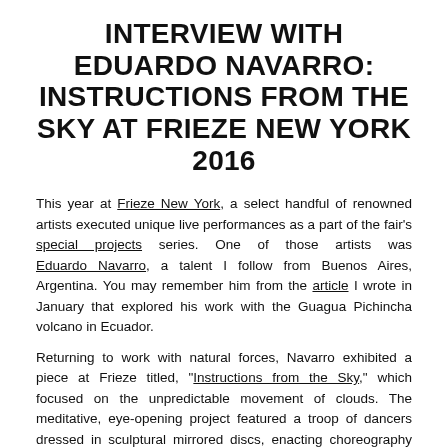INTERVIEW WITH EDUARDO NAVARRO: INSTRUCTIONS FROM THE SKY AT FRIEZE NEW YORK 2016
This year at Frieze New York, a select handful of renowned artists executed unique live performances as a part of the fair's special projects series. One of those artists was Eduardo Navarro, a talent I follow from Buenos Aires, Argentina. You may remember him from the article I wrote in January that explored his work with the Guagua Pichincha volcano in Ecuador.
Returning to work with natural forces, Navarro exhibited a piece at Frieze titled, "Instructions from the Sky," which focused on the unpredictable movement of clouds. The meditative, eye-opening project featured a troop of dancers dressed in sculptural mirrored discs, enacting choreography that reflected the behavior of the sky floating above Randall's Island during the fair.